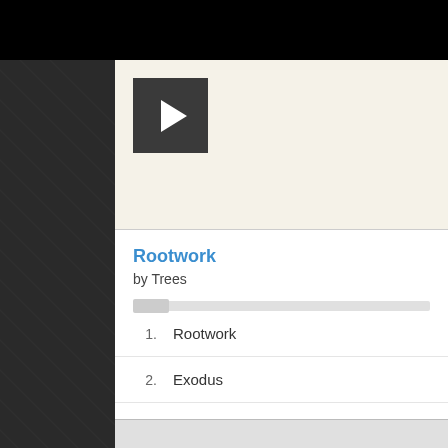[Figure (screenshot): Play button - dark square with white triangle play icon]
Rootwork
by Trees
1.  Rootwork
2.  Exodus
3.  Get Advanced
4.  What's Left
5.  Rootwork (DJ F Restructure)
6.  What's Left (Shigeto Extended Remix)